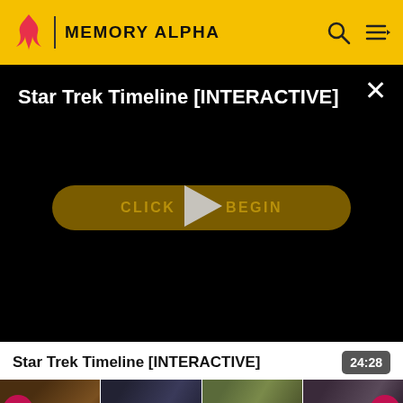MEMORY ALPHA
[Figure (screenshot): Video player showing 'Star Trek Timeline [INTERACTIVE]' with black background, a golden 'CLICK TO BEGIN' button, play triangle overlay, and close X button in top right corner]
Star Trek Timeline [INTERACTIVE]
24:28
[Figure (photo): Four video thumbnails in a row: North Star (a cowboy figure), Carpenter St... (police car scene), Twilight (epi... (landscape with smoke), The Shinmen (elderly figure). Each has a purple P icon. Left and right navigation arrows visible.]
North Star (e...   Carpenter St...   Twilight (epio...   The Shinmen